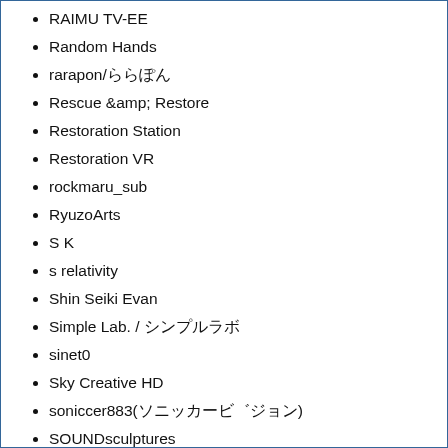RAIMU TV-EE
Random Hands
rarapon/ららぽん
Rescue &amp; Restore
Restoration Station
Restoration VR
rockmaru_sub
RyuzoArts
S K
s relativity
Shin Seiki Evan
Simple Lab. / シンプルラボ
sinet0
Sky Creative HD
soniccer883(ソニッカービ゛ジョン)
SOUNDsculptures
ST☆ML☆Group